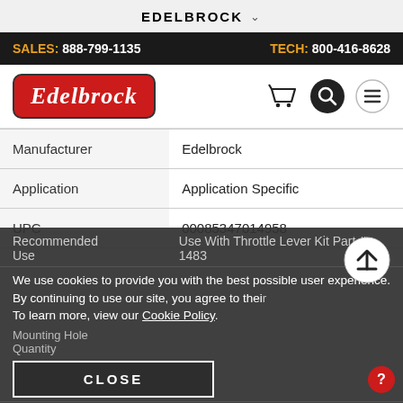EDELBROCK
SALES: 888-799-1135    TECH: 800-416-8628
[Figure (logo): Edelbrock red oval logo with white cursive text]
|  |  |
| --- | --- |
| Manufacturer | Edelbrock |
| Application | Application Specific |
| UPC | 00085347014958 |
Recommended Use | Use With Throttle Lever Kit Part # 1483
Mounting Hole Quantity
We use cookies to provide you with the best possible user experience. By continuing to use our site, you agree to their use. To learn more, view our Cookie Policy.
CLOSE
Quantity | Sold Individually